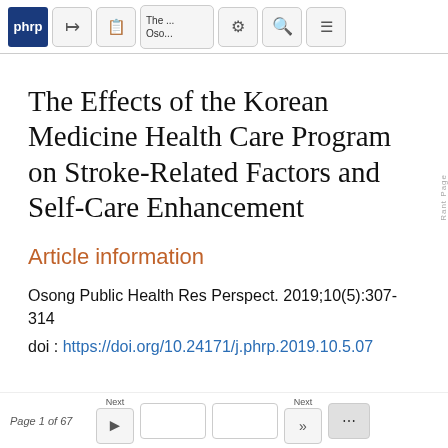[Figure (screenshot): Browser/viewer toolbar with phrp logo button, share button, PDF button, text label 'The... Oso...', settings gear button, search button, and list/menu button]
The Effects of the Korean Medicine Health Care Program on Stroke-Related Factors and Self-Care Enhancement
Article information
Osong Public Health Res Perspect. 2019;10(5):307-314
doi : https://doi.org/10.24171/j.phrp.2019.10.5.07
Page 1 of 67  Next  Next ...